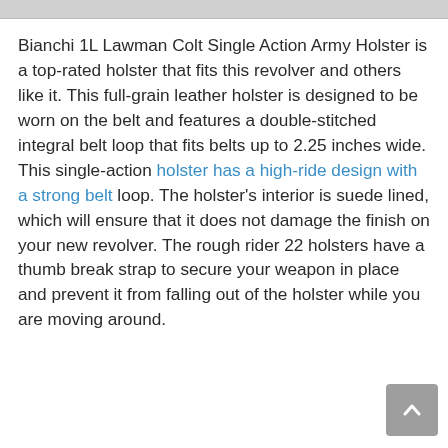Bianchi 1L Lawman Colt Single Action Army Holster is a top-rated holster that fits this revolver and others like it. This full-grain leather holster is designed to be worn on the belt and features a double-stitched integral belt loop that fits belts up to 2.25 inches wide. This single-action holster has a high-ride design with a strong belt loop. The holster's interior is suede lined, which will ensure that it does not damage the finish on your new revolver. The rough rider 22 holsters have a thumb break strap to secure your weapon in place and prevent it from falling out of the holster while you are moving around.